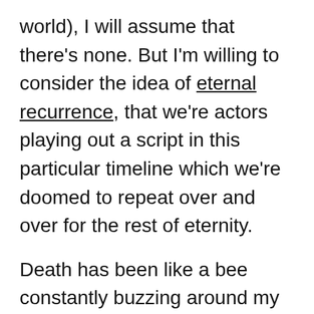world), I will assume that there's none. But I'm willing to consider the idea of eternal recurrence, that we're actors playing out a script in this particular timeline which we're doomed to repeat over and over for the rest of eternity.
Death has been like a bee constantly buzzing around my head. There's always news of death within my immediate circles. I'm not sure if it's frequency illusion (the way our minds would fixate on something when we realize that something exists, like when I suddenly noticed Suzuki APVs were everywhere in